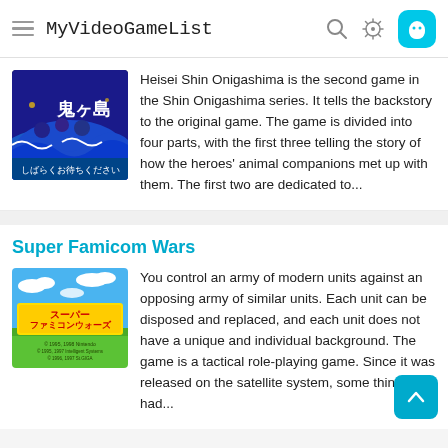MyVideoGameList
[Figure (screenshot): Heisei Shin Onigashima game cover art showing Japanese characters and colorful artwork]
Heisei Shin Onigashima is the second game in the Shin Onigashima series. It tells the backstory to the original game. The game is divided into four parts, with the first three telling the story of how the heroes&#39; animal companions met up with them. The first two are dedicated to...
Super Famicom Wars
[Figure (screenshot): Super Famicom Wars game cover art showing colorful title screen with green hills and clouds]
You control an army of modern units against an opposing army of similar units. Each unit can be disposed and replaced, and each unit does not have a unique and individual background. The game is a tactical role-playing game. Since it was released on the satellite system, some things had...